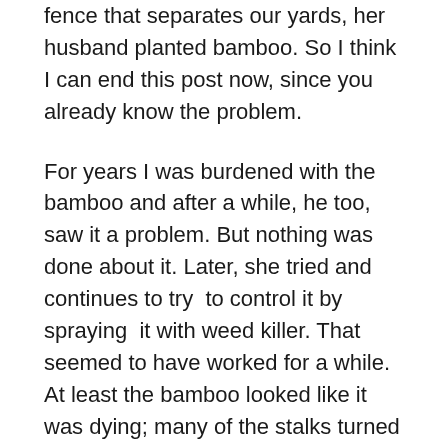fence that separates our yards, her husband planted bamboo. So I think I can end this post now, since you already know the problem.
For years I was burdened with the bamboo and after a while, he too, saw it a problem. But nothing was done about it. Later, she tried and continues to try to control it by spraying it with weed killer. That seemed to have worked for a while. At least the bamboo looked like it was dying; many of the stalks turned brown and the large group that was, was now beginning to thin out. But in my glee, I tried hard not to jump up and down, celebrate the death of the bamboo. Isn't this crazy? Maybe I thought that if that bamboo was really leaving, it should have been gone by now.
This summer, I was gone for a while and when I returned, the bamboo seems to have taken over that entire side of our yards. I have a pond that I want to fill in and have